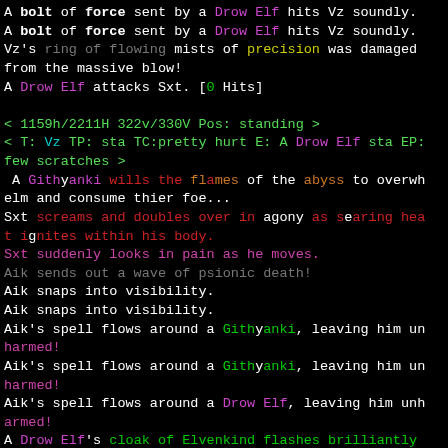A bolt of force sent by a Drow Elf hits Vz soundly. A bolt of force sent by a Drow Elf hits Vz soundly. Vz's ring of flowing mists of precision was damaged from the massive blow! A Drow Elf attacks Sxt. [0 Hits]
< 1159h/2211H 322v/330V Pos: standing > < T: Vz TP: sta TC:pretty hurt E: A Drow Elf sta EP: few scratches >
A Githyanki wills the flames of the abyss to overwhelm and consume thier foe... Sxt screams and doubles over in agony as searing heat ignites within his body. Sxt suddenly looks in pain as he moves. Aik sends out a wave of psionic death! Aik snaps into visibility. Aik snaps into visibility. Aik's spell flows around a Githyanki, leaving him unharmed! Aik's spell flows around a Githyanki, leaving him unharmed! Aik's spell flows around a Drow Elf, leaving him unharmed! A Drow Elf's cloak of Elvenkind flashes brilliantly